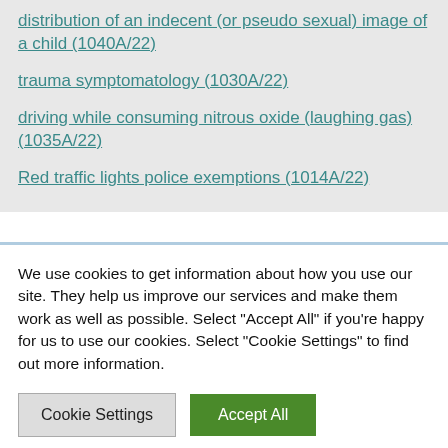distribution of an indecent (or pseudo sexual) image of a child (1040A/22)
trauma symptomatology (1030A/22)
driving while consuming nitrous oxide (laughing gas) (1035A/22)
Red traffic lights police exemptions (1014A/22)
We use cookies to get information about how you use our site. They help us improve our services and make them work as well as possible. Select “Accept All” if you’re happy for us to use our cookies. Select “Cookie Settings” to find out more information.